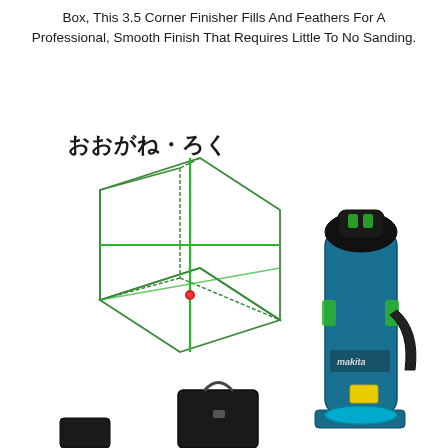Box, This 3.5 Corner Finisher Fills And Feathers For A Professional, Smooth Finish That Requires Little To No Sanding.
[Figure (photo): Product image showing a Makita laser level device (blue/teal cylindrical tool) alongside a diagram illustrating a 3D box with green laser lines (labeled in Japanese: おおがね・ろく), and a black carrying case accessory at the bottom.]